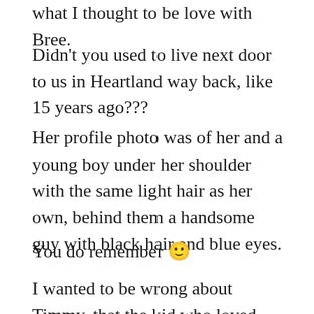what I thought to be love with Bree.
Didn't you used to live next door to us in Heartland way back, like 15 years ago???
Her profile photo was of her and a young boy under her shoulder with the same light hair as her own, behind them a handsome guy with black hair and blue eyes.
You do remember 🙂
I wanted to be wrong about Timmy, that the kid who loved Gettysburg and Pongs was not the same young